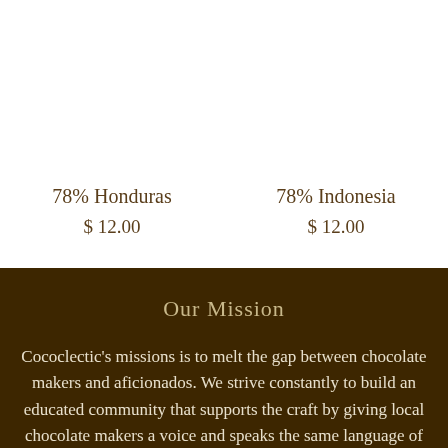78% Honduras
$ 12.00
78% Indonesia
$ 12.00
Our Mission
Cococlectic's missions is to melt the gap between chocolate makers and aficionados. We strive constantly to build an educated community that supports the craft by giving local chocolate makers a voice and speaks the same language of